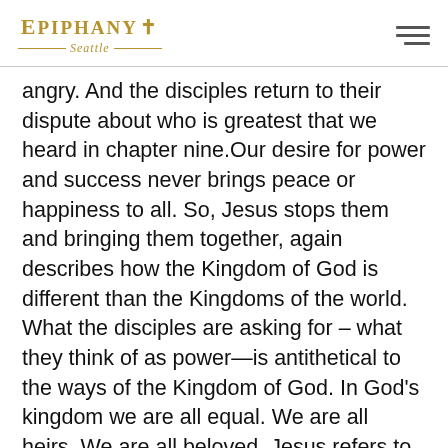Epiphany Seattle
angry. And the disciples return to their dispute about who is greatest that we heard in chapter nine.Our desire for power and success never brings peace or happiness to all. So, Jesus stops them and bringing them together, again describes how the Kingdom of God is different than the Kingdoms of the world. What the disciples are asking for – what they think of as power—is antithetical to the ways of the Kingdom of God. In God's kingdom we are all equal. We are all heirs. We are all beloved. Jesus refers to those who they recognize as rulers in the Roman Empire. It is important to note this